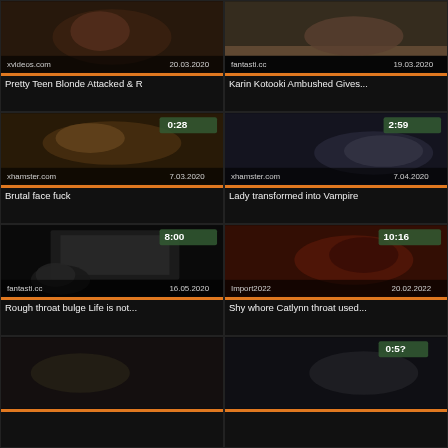[Figure (screenshot): Video thumbnail grid item 1 - xvideos.com 20.03.2020 - Pretty Teen Blonde Attacked & R]
[Figure (screenshot): Video thumbnail grid item 2 - fantasti.cc 19.03.2020 - Karin Kotooki Ambushed Gives...]
[Figure (screenshot): Video thumbnail grid item 3 - xhamster.com 7.03.2020 - Brutal face fuck - duration 0:28]
[Figure (screenshot): Video thumbnail grid item 4 - xhamster.com 7.04.2020 - Lady transformed into Vampire - duration 2:59]
[Figure (screenshot): Video thumbnail grid item 5 - fantasti.cc 16.05.2020 - Rough throat bulge Life is not... - duration 8:00]
[Figure (screenshot): Video thumbnail grid item 6 - Import2022 20.02.2022 - Shy whore Catlynn throat used... - duration 10:16]
[Figure (screenshot): Video thumbnail grid item 7 - bottom left partial]
[Figure (screenshot): Video thumbnail grid item 8 - bottom right partial]